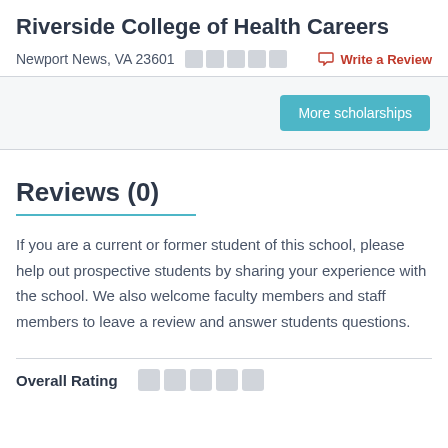Riverside College of Health Careers
Newport News, VA 23601
Write a Review
[Figure (other): More scholarships button]
Reviews (0)
If you are a current or former student of this school, please help out prospective students by sharing your experience with the school. We also welcome faculty members and staff members to leave a review and answer students questions.
Overall Rating